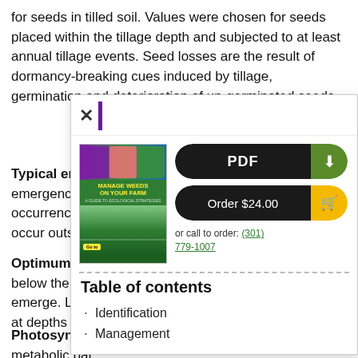for seeds in tilled soil. Values were chosen for seeds placed within the tillage depth and subjected to at least annual tillage events. Seed losses are the result of dormancy-breaking cues induced by tillage, germination and deterioration of un-germinated seeds.
Typical emergence — emergence occurs, occurrence for, occur outside
Optimum emergence — below the soil, emerge. Lower, at depths just
Photosynthesis — metabolic path, photosynthesi
[Figure (screenshot): A popup/modal overlay showing a book titled 'Manage Weeds On Your Farm' with PDF download button, Order $24.00 button, phone number (301) 779-1007, and a Table of Contents section listing Identification and Management.]
Table of contents
Identification
Management